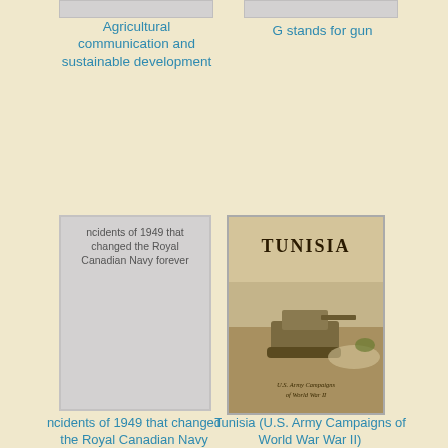[Figure (illustration): Partial top edge of a book cover, light gray background]
Agricultural communication and sustainable development
[Figure (illustration): Partial top edge of a book cover, light gray background]
G stands for gun
[Figure (illustration): Book cover showing text: ncidents of 1949 that changed the Royal Canadian Navy forever, gray/white cover]
[Figure (illustration): Book cover titled TUNISIA showing a WWII tank in a desert landscape, sepia/tan tones, subtitle appears to be U.S. Army Campaigns of World War II]
ncidents of 1949 that changed the Royal Canadian Navy forever
Tunisia (U.S. Army Campaigns of World War II)
[Figure (illustration): Partial bottom book cover, gray, text: Health benefits of smoking cessation]
[Figure (illustration): Partial bottom book cover, gray, text: My birthday-suit doesnt fit me any more!]